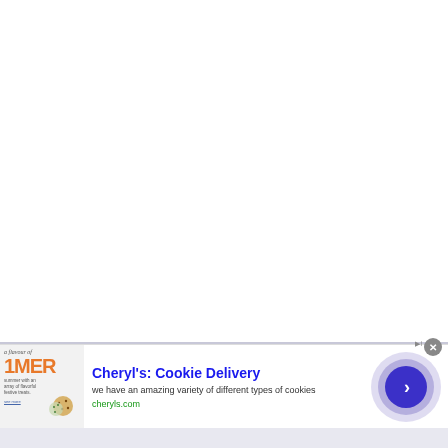[Figure (screenshot): Partial webpage screenshot showing a mostly white/blank content area with a thin top border, indicating a partially loaded or scrolled web page.]
[Figure (illustration): Web advertisement banner for Cheryl's Cookie Delivery. Left side shows a cookie-themed image with text 'a flavour of SUMMER' and small cookie images. Main content shows title 'Cheryl's: Cookie Delivery', description text 'we have an amazing variety of different types of cookies', URL 'cheryls.com', and a purple circular call-to-action button with a right arrow. A close (X) button appears in the upper right of the ad.]